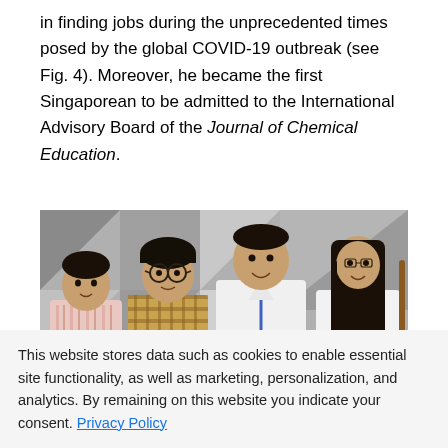in finding jobs during the unprecedented times posed by the global COVID-19 outbreak (see Fig. 4). Moreover, he became the first Singaporean to be admitted to the International Advisory Board of the Journal of Chemical Education.
[Figure (photo): Group photo of four people standing in front of a gray geometric patterned wall. From left to right: a man in a striped shirt, a man with glasses in a plaid shirt, a man in a white shirt with a blue lanyard badge, and a woman with long hair in a white top.]
This website stores data such as cookies to enable essential site functionality, as well as marketing, personalization, and analytics. By remaining on this website you indicate your consent. Privacy Policy